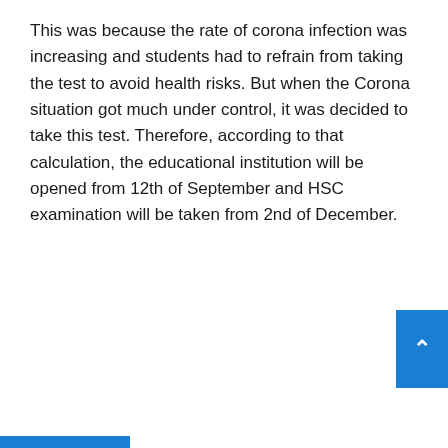This was because the rate of corona infection was increasing and students had to refrain from taking the test to avoid health risks. But when the Corona situation got much under control, it was decided to take this test. Therefore, according to that calculation, the educational institution will be opened from 12th of September and HSC examination will be taken from 2nd of December.